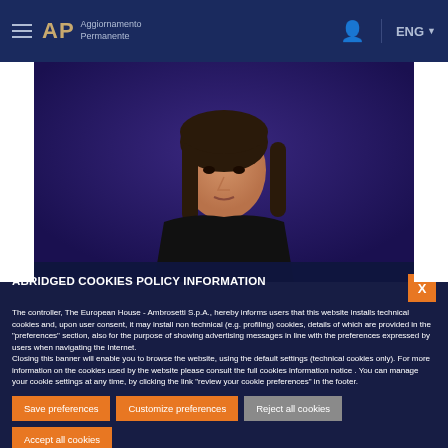AP Aggiornamento Permanente — ENG
[Figure (photo): Woman with dark hair speaking on camera against a purple/dark blue background, wearing a black sleeveless top. Website screenshot with navigation header.]
ABRIDGED COOKIES POLICY INFORMATION
The controller, The European House - Ambrosetti S.p.A., hereby informs users that this website installs technical cookies and, upon user consent, it may install non technical (e.g. profiling) cookies, details of which are provided in the "preferences" section, also for the purpose of showing advertising messages in line with the preferences expressed by users when navigating the Internet.
Closing this banner will enable you to browse the website, using the default settings (technical cookies only). For more information on the cookies used by the website please consult the full cookies information notice . You can manage your cookie settings at any time, by clicking the link "review your cookie preferences" in the footer.
Save preferences
Customize preferences
Reject all cookies
Accept all cookies